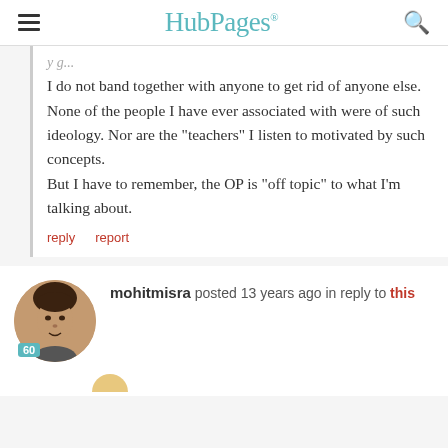HubPages
I do not band together with anyone to get rid of anyone else. None of the people I have ever associated with were of such ideology. Nor are the "teachers" I listen to motivated by such concepts.
But I have to remember, the OP is "off topic" to what I'm talking about.
reply   report
mohitmisra posted 13 years ago in reply to this